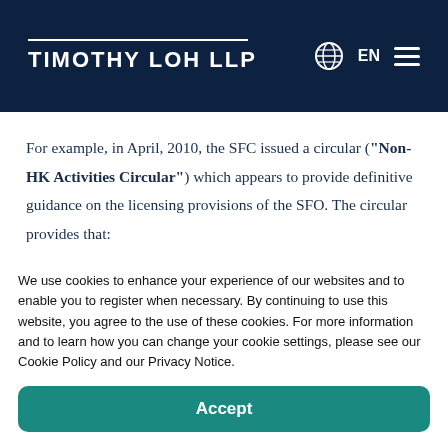TIMOTHY LOH LLP
For example, in April, 2010, the SFC issued a circular ("Non-HK Activities Circular") which appears to provide definitive guidance on the licensing provisions of the SFO. The circular provides that:
We use cookies to enhance your experience of our websites and to enable you to register when necessary. By continuing to use this website, you agree to the use of these cookies. For more information and to learn how you can change your cookie settings, please see our Cookie Policy and our Privacy Notice.
Accept